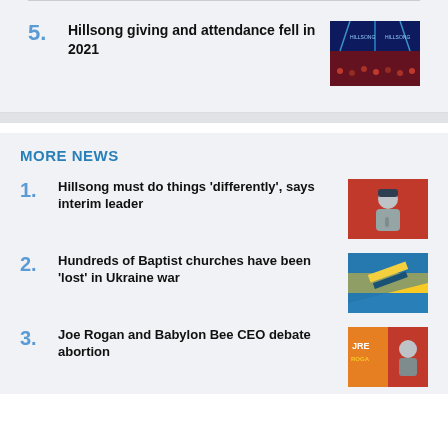5. Hillsong giving and attendance fell in 2021
MORE NEWS
1. Hillsong must do things 'differently', says interim leader
2. Hundreds of Baptist churches have been 'lost' in Ukraine war
3. Joe Rogan and Babylon Bee CEO debate abortion